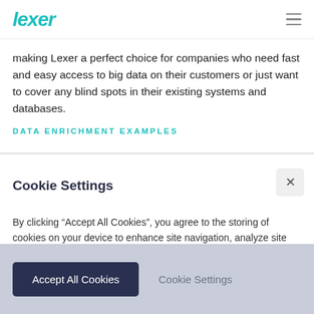Lexer
making Lexer a perfect choice for companies who need fast and easy access to big data on their customers or just want to cover any blind spots in their existing systems and databases.
DATA ENRICHMENT EXAMPLES
Cookie Settings
By clicking “Accept All Cookies”, you agree to the storing of cookies on your device to enhance site navigation, analyze site usage and assist in our marketing efforts. More info
Accept All Cookies
Cookie Settings